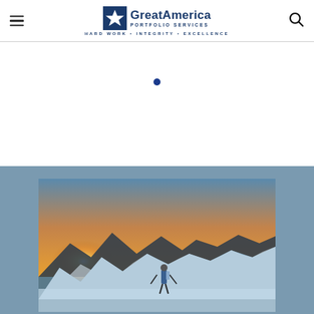GreatAmerica Portfolio Services — HARD WORK • INTEGRITY • EXCELLENCE
[Figure (photo): Mountain climber/skier standing on a snowy peak at sunset, with mountain ridges in background and warm golden light on the horizon. Set against a blue-gray background.]